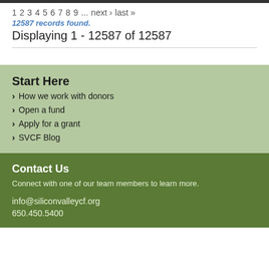1 2 3 4 5 6 7 8 9 … next › last »
12587 records found.
Displaying 1 - 12587 of 12587
Start Here
How we work with donors
Open a fund
Apply for a grant
SVCF Blog
Contact Us
Connect with one of our team members to learn more.
info@siliconvalleycf.org
650.450.5400